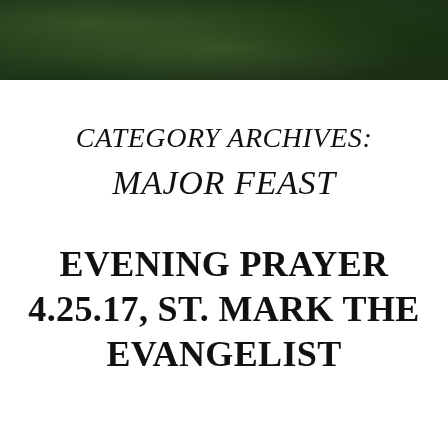[Figure (photo): Dark green forest/tree foliage banner photo at the top of the page]
CATEGORY ARCHIVES:
MAJOR FEAST
EVENING PRAYER 4.25.17, ST. MARK THE EVANGELIST